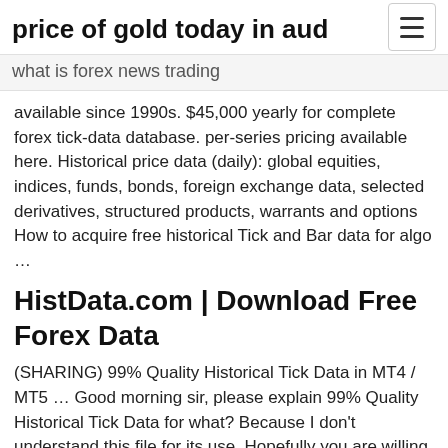price of gold today in aud
what is forex news trading
available since 1990s. $45,000 yearly for complete forex tick-data database. per-series pricing available here. Historical price data (daily): global equities, indices, funds, bonds, foreign exchange data, selected derivatives, structured products, warrants and options How to acquire free historical Tick and Bar data for algo …
HistData.com | Download Free Forex Data
(SHARING) 99% Quality Historical Tick Data in MT4 / MT5 … Good morning sir, please explain 99% Quality Historical Tick Data for what? Because I don't understand this file for its use. Hopefully you are willing to explain again in … Forex Historical Data App - EA Forex Academy Forex Historical Data App is FREE! The App is developed to solve one of the biggest problems that the beginner algo traders meet – the brokers do not provide a lot